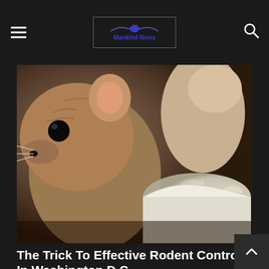Mankind News
[Figure (photo): Close-up photograph of two mice/rodents, one large mouse facing camera with visible nose and whiskers, another smaller rodent climbing over a white bowl or container]
The Trick To Effective Rodent Control In Washington D.C.
We use non-personal cookies for analytics, and also some social media cookies to allow us to personalise ads. There are also one or two to take care of security. If you click 'Accept' this will allow us to use Analytics and Marketing cookies. You have full control over which cookies may be set by clicking 'Settings'.